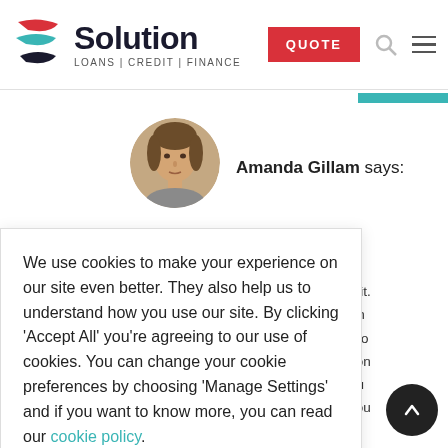Solution Loans | Credit | Finance — QUOTE
[Figure (photo): Profile photo of Amanda Gillam, a woman with brown hair pulled back]
Amanda Gillam says:
We use cookies to make your experience on our site even better. They also help us to understand how you use our site. By clicking 'Accept All' you're agreeing to our use of cookies. You can change your cookie preferences by choosing 'Manage Settings' and if you want to know more, you can read our cookie policy.
Manage Settings   Accept All
m
over and are a UK
edly apply for credit.
lender that you can
credit history is also
that your application
add to this that you
taking on debt if you
a risk that any
ome to a sudden end.